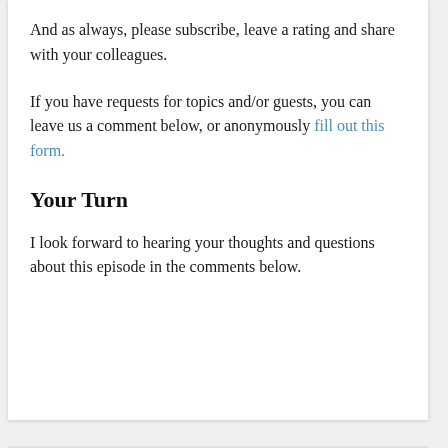And as always, please subscribe, leave a rating and share with your colleagues.
If you have requests for topics and/or guests, you can leave us a comment below, or anonymously fill out this form.
Your Turn
I look forward to hearing your thoughts and questions about this episode in the comments below.